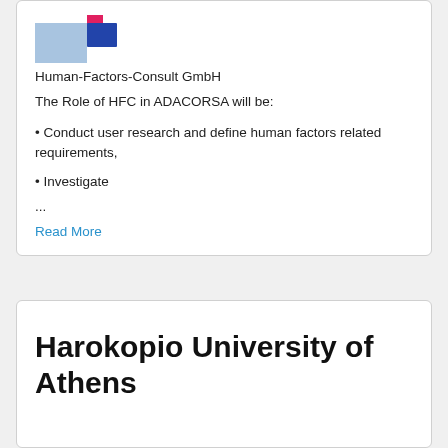[Figure (logo): HFC logo with light blue rectangle and red/dark blue squares]
Human-Factors-Consult GmbH
The Role of HFC in ADACORSA will be:
• Conduct user research and define human factors related requirements,
• Investigate
...
Read More
Harokopio University of Athens